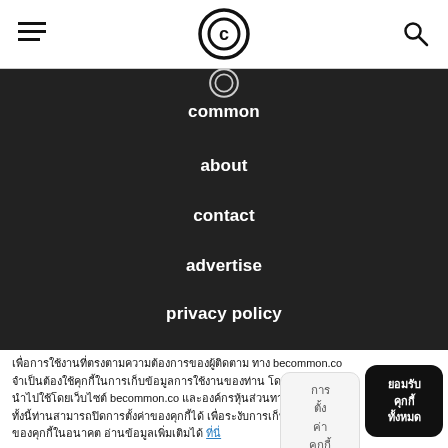[Figure (logo): Hamburger menu icon, circular C logo, and search/magnifying glass icon in a white top navigation bar]
[Figure (screenshot): Dark navigation menu with white text links: common, about, contact, advertise, privacy policy]
เพื่อการใช้งานที่ตรงตามความต้องการของผู้ติดตาม ทาง becommon.co จำเป็นต้องใช้คุกกี้ในการเก็บข้อมูลการใช้งานของท่าน โดยข้อมูลนี้จะถูกนำไปใช้โดยเว็บไซต์ becommon.co และองค์กรหุ้นส่วนทางธุรกิจเท่านั้น ทั้งนี้ท่านสามารถปิดการตั้งค่าของคุกกี้ได้ เพื่อระงับการเก็บข้อมูลทุกอย่างของคุกกี้ในอนาคต อ่านข้อมูลเพิ่มเติมได้ ที่นี่
การตั้งค่าคุกกี้
ยอมรับคุกกี้ทั้งหมด